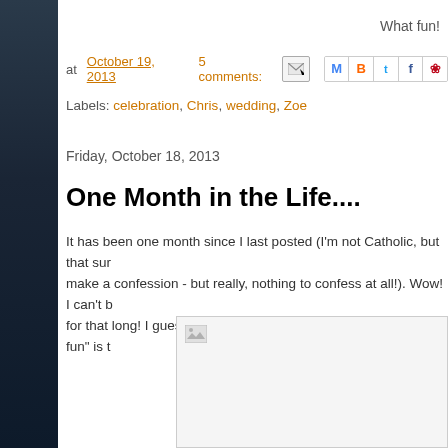What fun!
at October 19, 2013   5 comments:
Labels: celebration, Chris, wedding, Zoe
Friday, October 18, 2013
One Month in the Life....
It has been one month since I last posted (I'm not Catholic, but that sur make a confession - but really, nothing to confess at all!). Wow! I can't b for that long! I guess the saying, "Time flies when you're having fun" is t
[Figure (photo): Broken image placeholder in a light grey box]